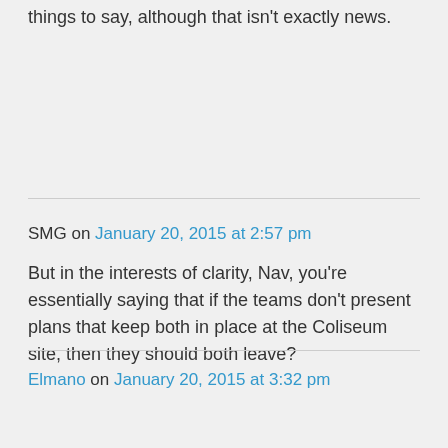things to say, although that isn't exactly news.
SMG on January 20, 2015 at 2:57 pm
But in the interests of clarity, Nav, you're essentially saying that if the teams don't present plans that keep both in place at the Coliseum site, then they should both leave?
Elmano on January 20, 2015 at 3:32 pm